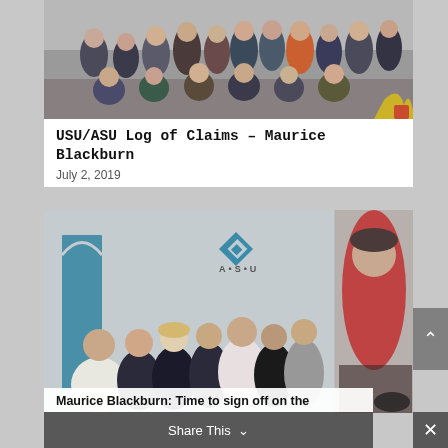[Figure (photo): Group photo of approximately 20 young professionals posing together in an indoor setting, some kneeling in front]
USU/ASU Log of Claims – Maurice Blackburn
July 2, 2019
[Figure (photo): Group photo of women standing in front of an ASU (A•S•U) logo sign on a wall, with a blue door visible on the left. A second portrait photo on the right shows a woman in a red patterned top.]
Share This
Maurice Blackburn: Time to sign off on the